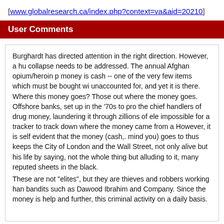[www.globalresearch.ca/index.php?context=va&aid=20210]
User Comments
Burghardt has directed attention in the right direction. However, a hu collapse needs to be addressed. The annual Afghan opium/heroin p money is cash -- one of the very few items which must be bought wi unaccounted for, and yet it is there. Where this money goes? Those out where the money goes. Offshore banks, set up in the '70s to pro the chief handlers of drug money, laundering it through zillions of ele impossible for a tracker to track down where the money came from a However, it is self evident that the money (cash,. mind you) goes to thus keeps the City of London and the Wall Street, not only alive but his life by saying, not the whole thing but alluding to it, many reputed sheets in the black.
These are not "elites", but they are thieves and robbers working han bandits such as Dawood Ibrahim and Company. Since the money is help and further, this criminal activity on a daily basis.
The... article to allude to the commentary line. The given diff...